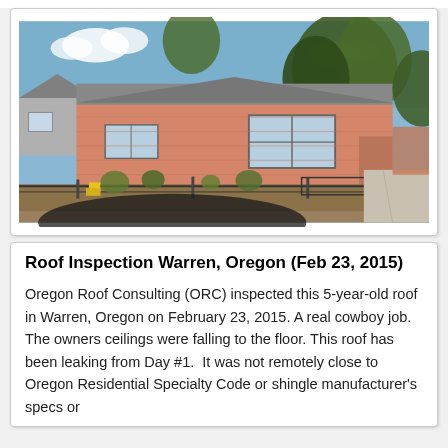[Figure (photo): Exterior photo of a single-story ranch-style house in Warren, Oregon with salmon/peach-colored siding, a chain-link fence in the front yard with garden plantings, trees in background, blue sky with clouds, and a concrete driveway visible on the right side. Dark shadow in foreground.]
Roof Inspection Warren, Oregon (Feb 23, 2015)
Oregon Roof Consulting (ORC) inspected this 5-year-old roof in Warren, Oregon on February 23, 2015. A real cowboy job. The owners ceilings were falling to the floor. This roof has been leaking from Day #1.  It was not remotely close to Oregon Residential Specialty Code or shingle manufacturer's specs or